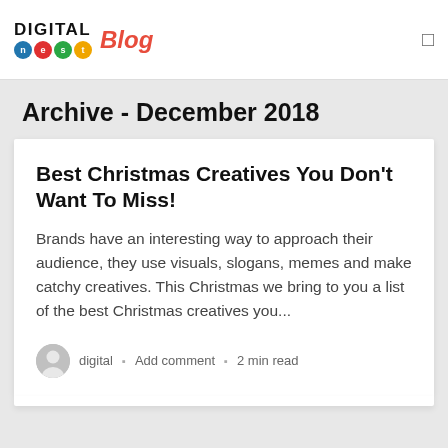Digital Nest Blog
Archive - December 2018
Best Christmas Creatives You Don't Want To Miss!
Brands have an interesting way to approach their audience, they use visuals, slogans, memes and make catchy creatives. This Christmas we bring to you a list of the best Christmas creatives you...
digital  ▪ Add comment  ▪ 2 min read